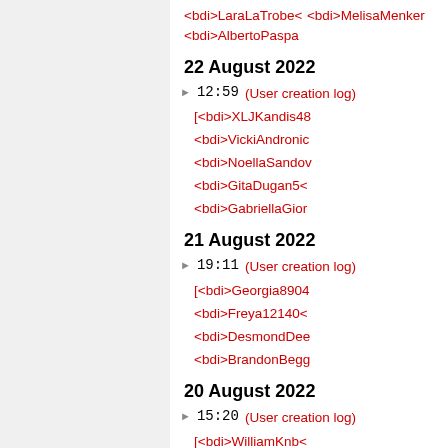<bdi>LaraLaTrobe<
<bdi>MelisaMenker
<bdi>AlbertoPaspa
22 August 2022
12:59  (User creation log)
[<bdi>XLJKandis48
<bdi>VickiAndronic
<bdi>NoellaSandov
<bdi>GitaDugan5<
<bdi>GabriellaGior
21 August 2022
19:11  (User creation log)
[<bdi>Georgia8904
<bdi>Freya12140<
<bdi>DesmondDee
<bdi>BrandonBegg
20 August 2022
15:20  (User creation log)
[<bdi>WilliamKnb<